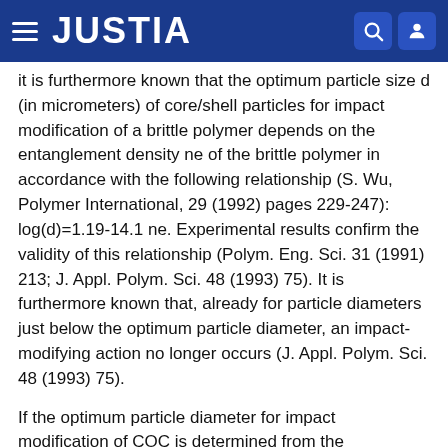JUSTIA
it is furthermore known that the optimum particle size d (in micrometers) of core/shell particles for impact modification of a brittle polymer depends on the entanglement density ne of the brittle polymer in accordance with the following relationship (S. Wu, Polymer International, 29 (1992) pages 229-247): log(d)=1.19-14.1 ne. Experimental results confirm the validity of this relationship (Polym. Eng. Sci. 31 (1991) 213; J. Appl. Polym. Sci. 48 (1993) 75). It is furthermore known that, already for particle diameters just below the optimum particle diameter, an impact-modifying action no longer occurs (J. Appl. Polym. Sci. 48 (1993) 75).
If the optimum particle diameter for impact modification of COC is determined from the relationship given by S. Wu, the core/shell particles should have diameters of between 1 and 3 micrometers. However, according to the current prior art, such particles can be realized